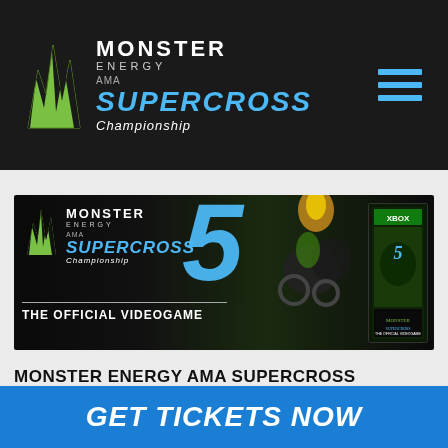Monster Energy AMA Supercross Championship
[Figure (advertisement): Monster Energy AMA Supercross 5 Championship – The Official Videogame promotional banner with motocross riders and game box art on dark background]
MONSTER ENERGY AMA SUPERCROSS
Indianapolis
Lucas Oil Stadium - Indianapolis, IN
GET TICKETS NOW